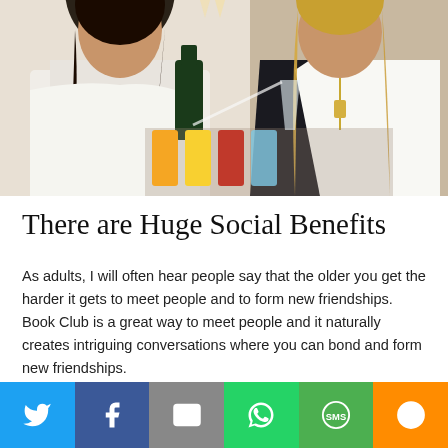[Figure (photo): Two women at a social gathering, one pouring a drink (champagne/sparkling wine) into a glass held by the other. Several colorful beverages in orange, yellow, and red glasses are visible on a table. Both women are smiling. One wears a white outfit, the other a black dress with a white blazer and long necklace.]
There are Huge Social Benefits
As adults, I will often hear people say that the older you get the harder it gets to meet people and to form new friendships. Book Club is a great way to meet people and it naturally creates intriguing conversations where you can bond and form new friendships.
[Figure (infographic): Social sharing bar with six buttons: Twitter (light blue), Facebook (dark blue), Email (gray), WhatsApp (green), SMS (green), and More/Other (orange). Each button has a white icon.]